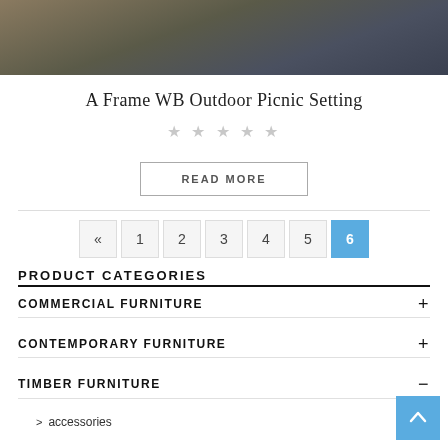[Figure (photo): Partial product photo showing outdoor furniture/picnic setting on sandy/earthen ground, cropped at top]
A Frame WB Outdoor Picnic Setting
★★★★★ (empty star rating)
READ MORE
« 1 2 3 4 5 6 (pagination, page 6 active)
PRODUCT CATEGORIES
COMMERCIAL FURNITURE +
CONTEMPORARY FURNITURE +
TIMBER FURNITURE −
> accessories